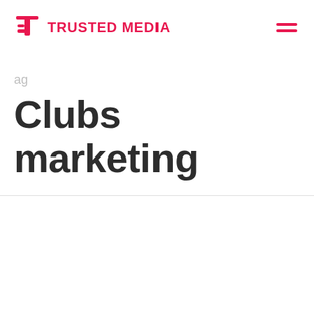TRUSTED MEDIA
ag
Clubs marketing